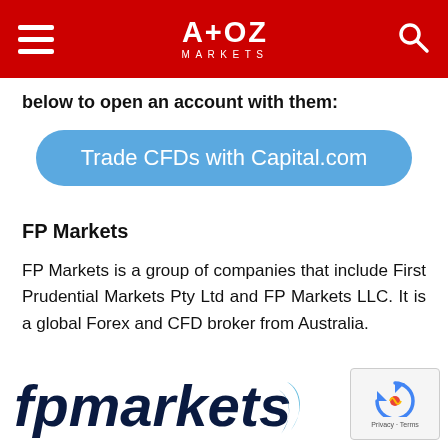A+OZ MARKETS
below to open an account with them:
[Figure (other): Blue rounded button reading 'Trade CFDs with Capital.com']
FP Markets
FP Markets is a group of companies that include First Prudential Markets Pty Ltd and FP Markets LLC. It is a global Forex and CFD broker from Australia.
[Figure (logo): FP Markets logo in dark navy blue italic font with a blue swoosh symbol]
[Figure (other): reCAPTCHA widget with Privacy and Terms text]